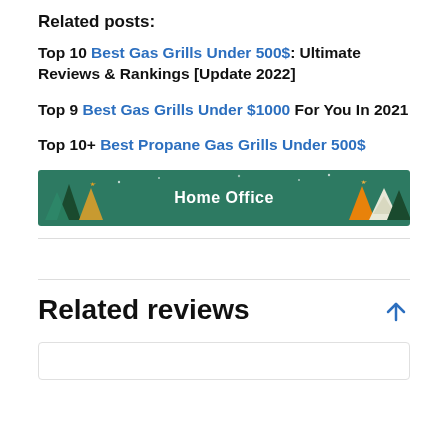Related posts:
Top 10 Best Gas Grills Under 500$: Ultimate Reviews & Rankings [Update 2022]
Top 9 Best Gas Grills Under $1000 For You In 2021
Top 10+ Best Propane Gas Grills Under 500$
[Figure (illustration): Banner image with teal/green background showing stylized Christmas trees in dark green and gold on the left and right sides, with 'Home Office' text centered in white bold font.]
Related reviews